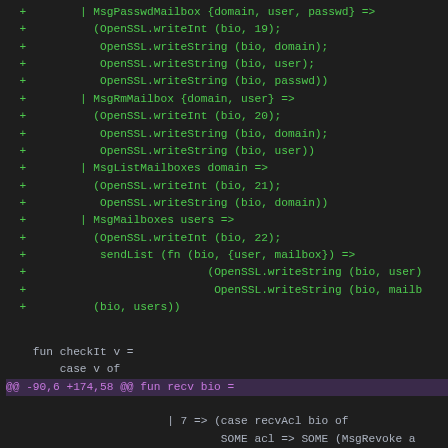[Figure (screenshot): Code diff showing OCaml source code with added lines (green) and diff header (magenta). Shows functions for MsgPasswdMailbox, MsgRmMailbox, MsgListMailboxes, MsgMailboxes, checkIt, and recv patterns.]